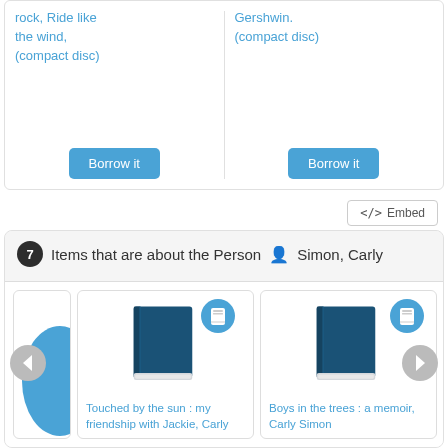rock, Ride like the wind, (compact disc)
Borrow it
Gershwin. (compact disc)
Borrow it
</> Embed
7 Items that are about the Person  Simon, Carly
[Figure (illustration): Partial blue book cover on left edge]
[Figure (illustration): Dark teal book icon with blue book-type badge]
Touched by the sun : my friendship with Jackie, Carly
[Figure (illustration): Dark teal book icon with blue book-type badge]
Boys in the trees : a memoir, Carly Simon